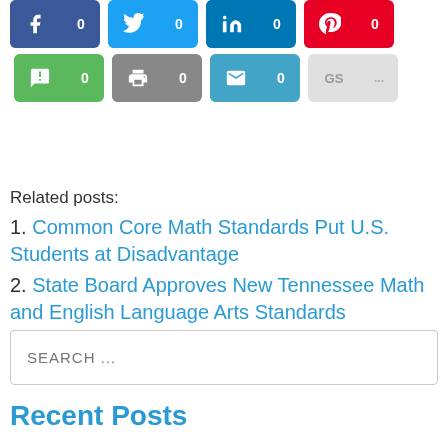[Figure (other): Social sharing buttons row: Facebook(0), Twitter(0), LinkedIn(0), Pinterest(0), SMS(0), Print(0), Email(0), GS(...)]
Related posts:
1. Common Core Math Standards Put U.S. Students at Disadvantage
2. State Board Approves New Tennessee Math and English Language Arts Standards
3. Fool Me Twice, Shame on Me
SEARCH ...
Recent Posts